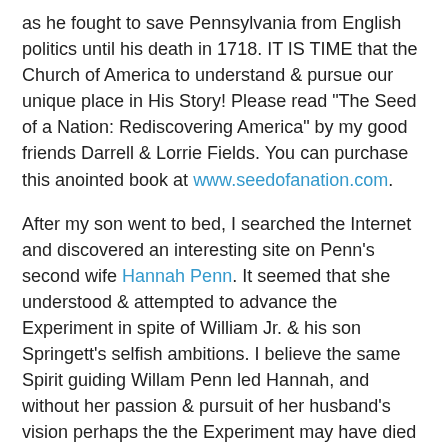as he fought to save Pennsylvania from English politics until his death in 1718. IT IS TIME that the Church of America to understand & pursue our unique place in His Story! Please read "The Seed of a Nation: Rediscovering America" by my good friends Darrell & Lorrie Fields. You can purchase this anointed book at www.seedofanation.com.
After my son went to bed, I searched the Internet and discovered an interesting site on Penn's second wife Hannah Penn. It seemed that she understood & attempted to advance the Experiment in spite of William Jr. & his son Springett's selfish ambitions. I believe the same Spirit guiding Willam Penn led Hannah, and without her passion & pursuit of her husband's vision perhaps the the Experiment may have died prematurely.
Would you join me on a special National Highway of Prayer Conference Call this Thursday, November 3, 8:45-9:30am Eastern, to tend to the Holy Experiment & ask others across the nation to join us using 712-432-0075 & code 6149782#? Key national servant leaders will share insights & inspiration towards prevailing intercession for America. I believe the